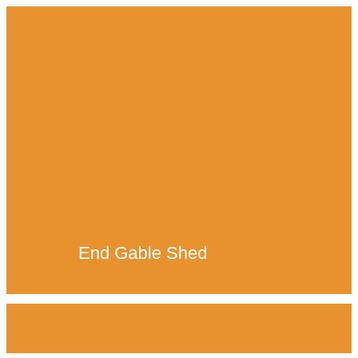[Figure (illustration): Large orange rectangle block filling most of the upper portion of the page, with the text 'End Gable Shed' displayed in white near the bottom center]
[Figure (illustration): Smaller orange rectangle block at the bottom of the page, same color as the top block]